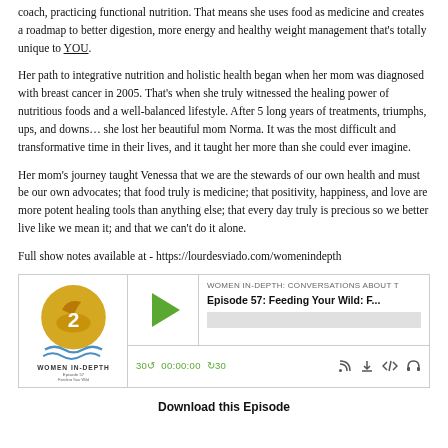coach, practicing functional nutrition. That means she uses food as medicine and creates a roadmap to better digestion, more energy and healthy weight management that's totally unique to YOU.
Her path to integrative nutrition and holistic health began when her mom was diagnosed with breast cancer in 2005. That's when she truly witnessed the healing power of nutritious foods and a well-balanced lifestyle. After 5 long years of treatments, triumphs, ups, and downs… she lost her beautiful mom Norma. It was the most difficult and transformative time in their lives, and it taught her more than she could ever imagine.
Her mom's journey taught Venessa that we are the stewards of our own health and must be our own advocates; that food truly is medicine; that positivity, happiness, and love are more potent healing tools than anything else; that every day truly is precious so we better live like we mean it; and that we can't do it alone.
Full show notes available at - https://lourdesviado.com/womenindepth
[Figure (screenshot): Podcast player widget showing Women In-Depth logo on the left with a golden circle bird design and text 'Women In-Depth', player controls in the center with a green play button, episode title 'Episode 57: Feeding Your Wild: F...' and show title 'WOMEN IN-DEPTH: CONVERSATIONS ABOUT T', progress bar, and bottom controls showing 30 back, 00:00:00, forward 30, and icons for RSS, download, embed, and headphones.]
Download this Episode